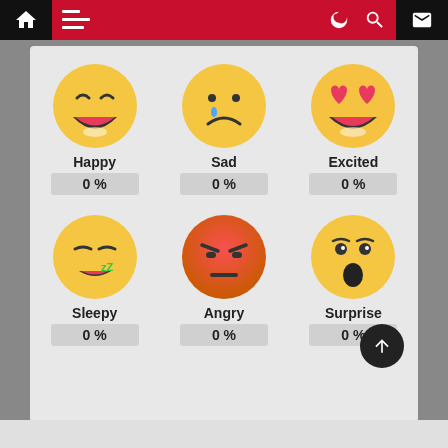[Figure (screenshot): Mobile app UI showing emotion recognition screen with 6 emoji faces (Happy, Sad, Excited, Sleepy, Angry, Surprise) each showing 0% and a red toolbar at top]
Happy 0 %
Sad 0 %
Excited 0 %
Sleepy 0 %
Angry 0 %
Surprise 0 %